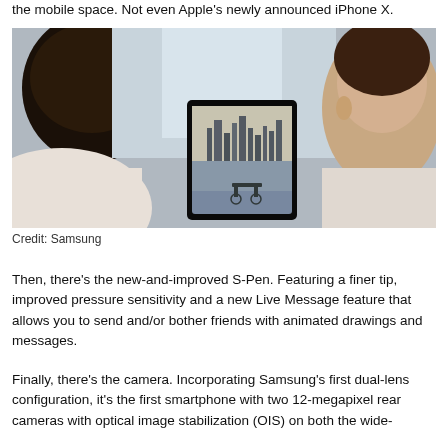the mobile space. Not even Apple's newly announced iPhone X.
[Figure (photo): Two people facing each other, one holding a Samsung smartphone horizontally showing a cityscape photo on its screen. Background is blurred indoor setting.]
Credit: Samsung
Then, there's the new-and-improved S-Pen. Featuring a finer tip, improved pressure sensitivity and a new Live Message feature that allows you to send and/or bother friends with animated drawings and messages.
Finally, there's the camera. Incorporating Samsung's first dual-lens configuration, it's the first smartphone with two 12-megapixel rear cameras with optical image stabilization (OIS) on both the wide-